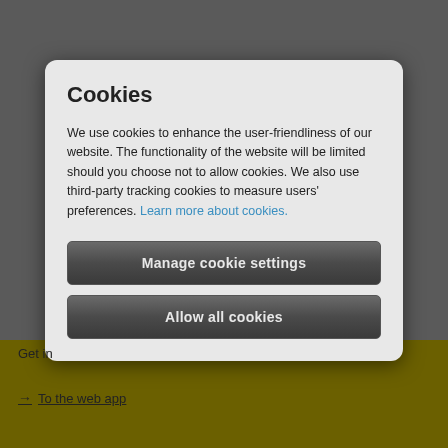Cookies
We use cookies to enhance the user-friendliness of our website. The functionality of the website will be limited should you choose not to allow cookies. We also use third-party tracking cookies to measure users' preferences. Learn more about cookies.
Manage cookie settings
Allow all cookies
Get in
→ To the web app